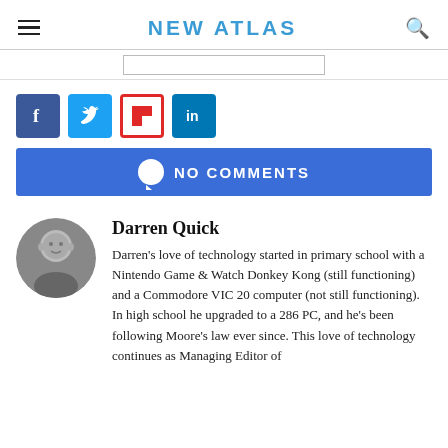NEW ATLAS
[Figure (logo): New Atlas website logo with hamburger menu and search icon]
[Figure (infographic): Social media share buttons: Facebook, Twitter, Flipboard, LinkedIn]
NO COMMENTS
Darren Quick
Darren's love of technology started in primary school with a Nintendo Game & Watch Donkey Kong (still functioning) and a Commodore VIC 20 computer (not still functioning). In high school he upgraded to a 286 PC, and he's been following Moore's law ever since. This love of technology continues as Managing Editor of